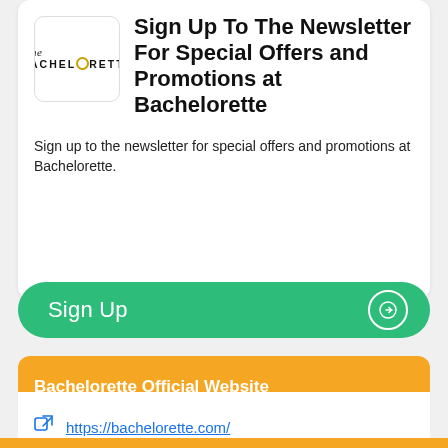[Figure (logo): The Bachelorette logo with stylized text and a ring icon]
Sign Up To The Newsletter For Special Offers and Promotions at Bachelorette
Sign up to the newsletter for special offers and promotions at Bachelorette.
Sign Up
Bachelorette Official Website
https://bachelorette.com/
Our website uses cookies and similar technologies to enhance your experience with us. By continuing to use LoveCoupons.co.nz you agree to the use of these technologies. Read more.